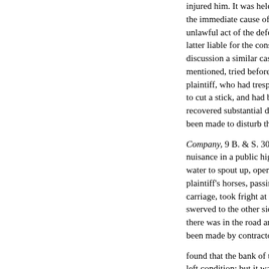injured him. It was held, though the immediate cause of the gun g... unlawful act of the defendant in s... latter liable for the consequences... discussion a similar case of Jay v... mentioned, tried before Rich- so... plaintiff, who had trespassed upo... to cut a stick, and had been simi-... recovered substantial damages, a... been made to disturb the verdict. Company, 9 B. & S. 303, the def... nuisance in a public highway by ... water to spout up, open, and unfe... plaintiff's horses, passing along t... carriage, took fright at the water ... swerved to the other side of the r... there was in the road an open da... been made by contractors found that the bank of the delph ... left condition; but it was also fou... have defendants relied as a defen... the bank had been caused by the ... been penned back owing to the n... sioners to maintain in a proper m...